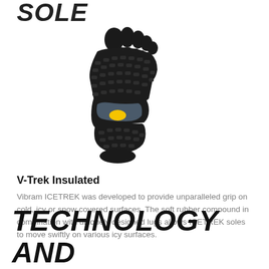SOLE
[Figure (photo): Bottom view of a Vibram FiveFingers V-Trek Insulated shoe sole, showing individual toe pockets and textured lug pattern in black rubber with a blue/grey midfoot area and a yellow oval accent mark]
V-Trek Insulated
Vibram ICETREK was developed to provide unparalleled grip on cold, icy or snow covered surfaces. The soft rubber compound in combination with uniquely designed lugs allows ICETREK soles to move swiftly on various icy surfaces.
TECHNOLOGY AND